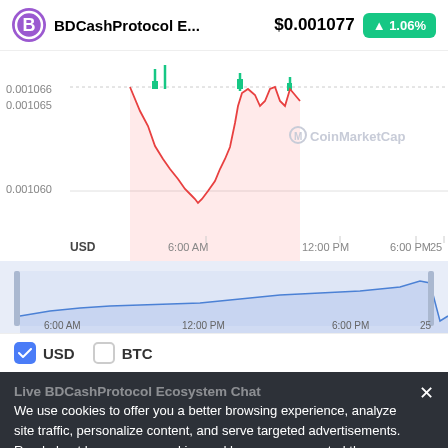BDCashProtocol E... $0.001077 ▲1.06%
[Figure (continuous-plot): Intraday price chart for BDCashProtocol Ecosystem in USD. Red line showing price movement from approximately 0.001060 low back up toward 0.001066 range, with green candlestick spikes near the top. Y-axis labels: 0.001066, 0.001065, 0.001060. X-axis labels: USD, 6:00 AM, 12:00 PM, 6:00 PM, 25. CoinMarketCap watermark visible.]
[Figure (continuous-plot): Navigator/range-selector chart below main chart, blue line on light blue background, showing price over same period. X-axis: 6:00 AM, 12:00 PM, 6:00 PM, 25.]
USD   BTC
Live BDCashProtocol Ecosystem Chat
We use cookies to offer you a better browsing experience, analyze site traffic, personalize content, and serve targeted advertisements. Read about how we use cookies and how you can control them on
Use CoinMarketCap APP
Get a better and more comprehensive user experience